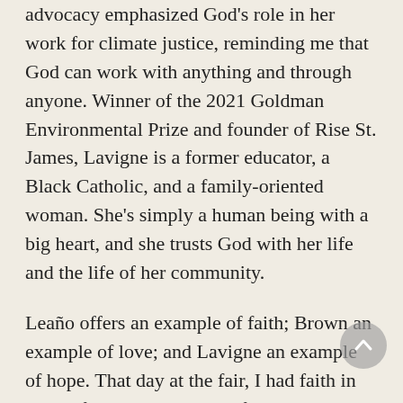advocacy emphasized God's role in her work for climate justice, reminding me that God can work with anything and through anyone. Winner of the 2021 Goldman Environmental Prize and founder of Rise St. James, Lavigne is a former educator, a Black Catholic, and a family-oriented woman. She's simply a human being with a big heart, and she trusts God with her life and the life of her community.
Leaño offers an example of faith; Brown an example of love; and Lavigne an example of hope. That day at the fair, I had faith in what I felt within me, love for God's creatures, and hope that things could be different – but I wasn't alone in any of it. That's something I'll remember from now on: we're in this together.